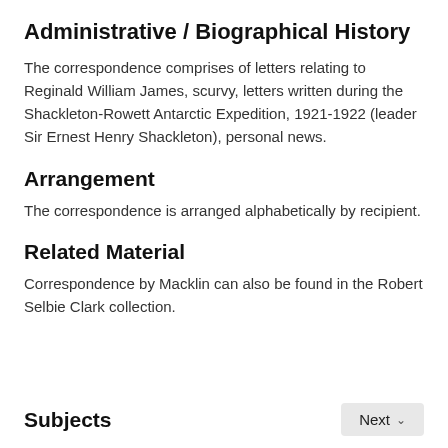Administrative / Biographical History
The correspondence comprises of letters relating to Reginald William James, scurvy, letters written during the Shackleton-Rowett Antarctic Expedition, 1921-1922 (leader Sir Ernest Henry Shackleton), personal news.
Arrangement
The correspondence is arranged alphabetically by recipient.
Related Material
Correspondence by Macklin can also be found in the Robert Selbie Clark collection.
Subjects